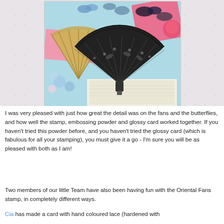[Figure (photo): A crafting photo showing decorative oriental fans with intricate black embossed floral patterns, set against a colorful background with butterflies, flowers, and cards in pink, blue, and teal.]
I was very pleased with just how great the detail was on the fans and the butterflies, and how well the stamp, embossing powder and glossy card worked together.  If you haven't tried this powder before, and you haven't tried the glossy card (which is fabulous for all your stamping), you must give it a go - I'm sure you will be as pleased with both as I am!
Two members of our little Team have also been having fun with the Oriental Fans stamp, in completely different ways.
Cia has made a card with hand coloured lace (hardened with